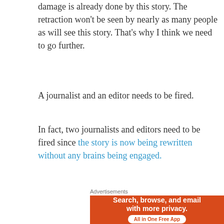damage is already done by this story. The retraction won't be seen by nearly as many people as will see this story. That's why I think we need to go further.
A journalist and an editor needs to be fired.
In fact, two journalists and editors need to be fired since the story is now being rewritten without any brains being engaged.
Advertisements
[Figure (other): DuckDuckGo advertisement: 'Search, browse, and email with more privacy. All in One Free App' on an orange/red background with a phone and duck logo.]